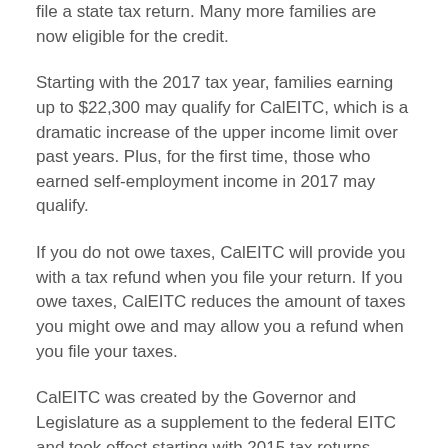file a state tax return. Many more families are now eligible for the credit.
Starting with the 2017 tax year, families earning up to $22,300 may qualify for CalEITC, which is a dramatic increase of the upper income limit over past years. Plus, for the first time, those who earned self-employment income in 2017 may qualify.
If you do not owe taxes, CalEITC will provide you with a tax refund when you file your return. If you owe taxes, CalEITC reduces the amount of taxes you might owe and may allow you a refund when you file your taxes.
CalEITC was created by the Governor and Legislature as a supplement to the federal EITC and took effect starting with 2015 tax returns.
Free help is also available at free tax return prep sites around the state from now until Tax Day in April. To find free tax